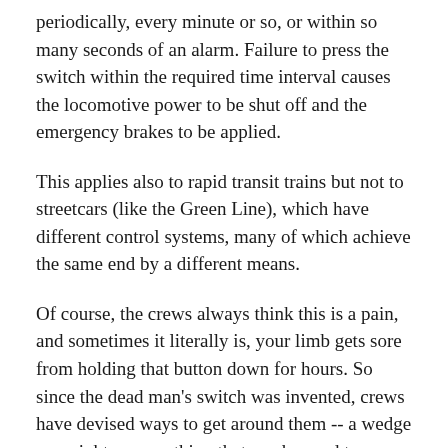periodically, every minute or so, or within so many seconds of an alarm. Failure to press the switch within the required time interval causes the locomotive power to be shut off and the emergency brakes to be applied.
This applies also to rapid transit trains but not to streetcars (like the Green Line), which have different control systems, many of which achieve the same end by a different means.
Of course, the crews always think this is a pain, and sometimes it literally is, your limb gets sore from holding that button down for hours. So since the dead man's switch was invented, crews have devised ways to get around them -- a wedge or weight or something that can be used to press down on the button. As crews have gotten more inventive with their bypass devices, locomotive builders have gotten more inventive in designing the switches.